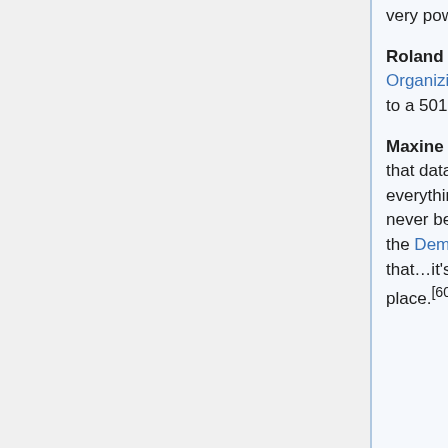very powerful, and whoever…(crosstalk)
Roland Martin (interrupts): In terms of Organizing for America that he's now shifted to a 501(c)4.
Maxine Waters: That's right. That's right. And that database will have information about everything on every individual in ways that its never been done before and whoever runs on the Democratic ticket will have to deal with that…it's very powerful what he's leaving in place.[60]